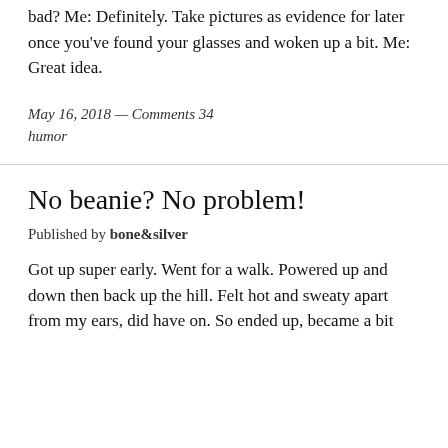bad? Me: Definitely. Take pictures as evidence for later once you've found your glasses and woken up a bit. Me: Great idea.
May 16, 2018 — Comments 34
humor
No beanie? No problem!
Published by bone&silver
Got up super early. Went for a walk. Powered up and down then back up the hill. Felt hot and sweaty apart from my ears, did have on. So ended up, became a bit...